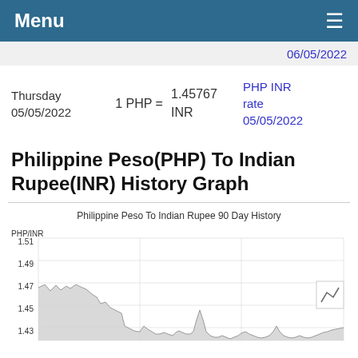Menu ≡
06/05/2022
Thursday 05/05/2022   1 PHP =   1.45767 INR   PHP INR rate 05/05/2022
Philippine Peso(PHP) To Indian Rupee(INR) History Graph
[Figure (continuous-plot): Philippine Peso To Indian Rupee 90 Day History line chart, y-axis labeled PHP/INR with values from 1.43 to 1.51, showing a downward trend over 90 days from approximately 1.47-1.49 range declining to around 1.43-1.45 range]